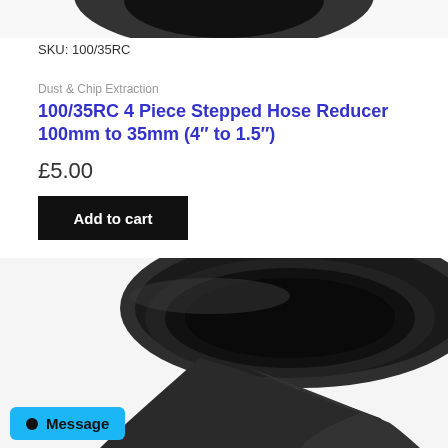[Figure (photo): Top portion of a black stepped hose reducer, showing the circular top viewed from above, cut off at top of frame]
SKU: 100/35RC
Dust & Chip Extraction
100/35RC 4 Piece Stepped Hose Reducer 100mm to 35mm (4″ to 1.5″)
£5.00
Add to cart
[Figure (photo): Close-up top-down view of a black plastic stepped hose reducer, showing the circular opening of the large end (100mm), with a blurred tapered section visible at the bottom right]
Message